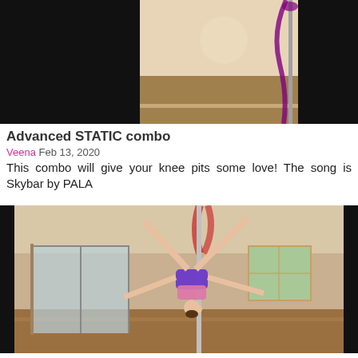[Figure (photo): Thumbnail of a pole dancer in a room with a pole, partially visible, with black bars on sides]
Advanced STATIC combo
Veena Feb 13, 2020
This combo will give your knee pits some love! The song is Skybar by PALA
[Figure (photo): Pole dancer performing a twisted grip handstand with legs spread wide on a silver pole in a home studio with red silk aerial fabric, doors and window visible]
Twisted Grip Handstand And Single Hand Brass Bridge
Veena Mar 30, 2015
POLE - ADVANCED - COMBO: Please refer to the related lessons below the main player for in-depth lessons.